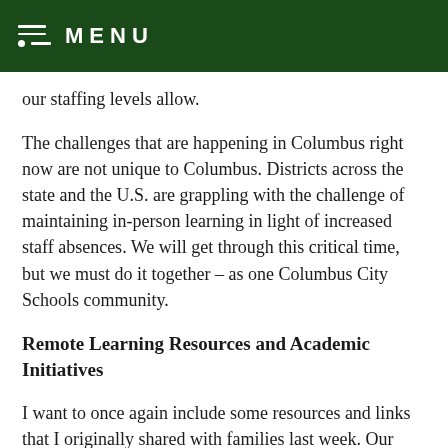MENU
our staffing levels allow.
The challenges that are happening in Columbus right now are not unique to Columbus. Districts across the state and the U.S. are grappling with the challenge of maintaining in-person learning in light of increased staff absences. We will get through this critical time, but we must do it together – as one Columbus City Schools community.
Remote Learning Resources and Academic Initiatives
I want to once again include some resources and links that I originally shared with families last week. Our Academic Services team has created remote learning resources for families, as we